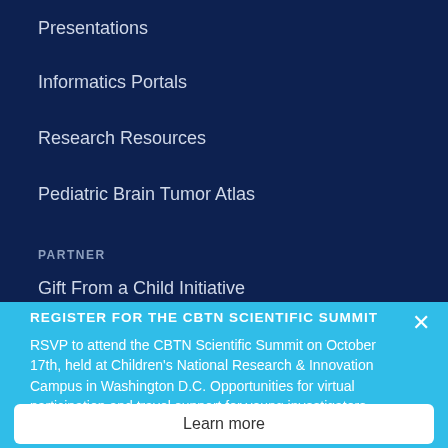Presentations
Informatics Portals
Research Resources
Pediatric Brain Tumor Atlas
PARTNER
Gift From a Child Initiative
REGISTER FOR THE CBTN SCIENTIFIC SUMMIT
RSVP to attend the CBTN Scientific Summit on October 17th, held at Children's National Research & Innovation Campus in Washington D.C. Opportunities for virtual participation and travel support for young investigators are also available.
Learn more